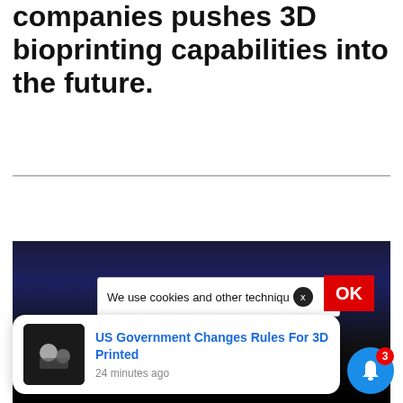companies pushes 3D bioprinting capabilities into the future.
[Figure (screenshot): Article page screenshot with cookie consent banner, notification popup about '3D Printed' rules change, and a bell notification icon with badge showing 3]
We use cookies and other techniques
US Government Changes Rules For 3D Printed
24 minutes ago